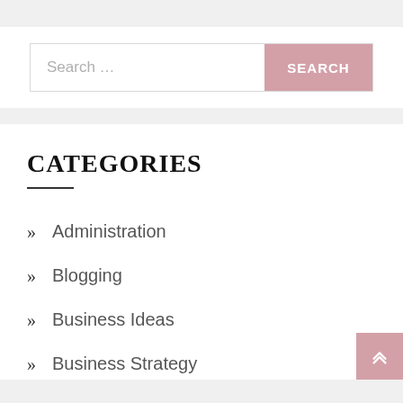Search ...
CATEGORIES
Administration
Blogging
Business Ideas
Business Strategy